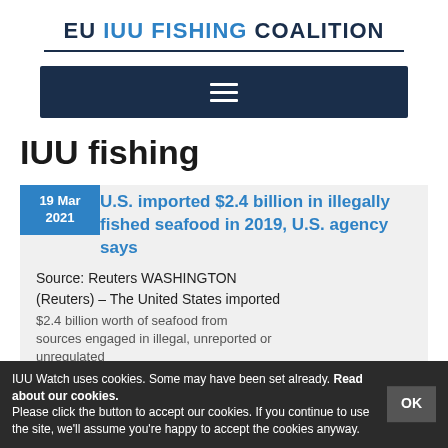EU IUU FISHING COALITION
[Figure (screenshot): Dark navy navigation bar with hamburger menu icon (three horizontal white lines)]
IUU fishing
19 Mar 2021 — U.S. imported $2.4 billion in illegally fished seafood in 2019, U.S. agency says
Source: Reuters WASHINGTON
(Reuters) – The United States imported $2.4 billion worth of seafood from sources engaged in illegal, unreported or unregulated fishing in 2019, representing 11% of total U.S. seafood imports...
IUU Watch uses cookies. Some may have been set already. Read about our cookies. Please click the button to accept our cookies. If you continue to use the site, we'll assume you're happy to accept the cookies anyway.